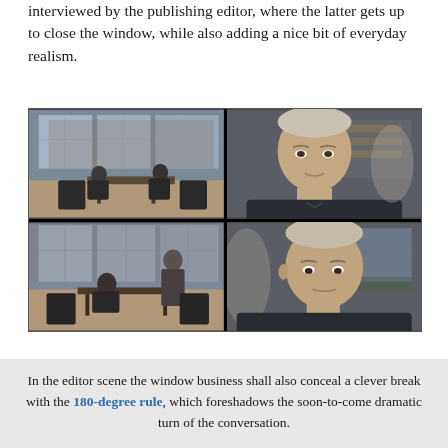interviewed by the publishing editor, where the latter gets up to close the window, while also adding a nice bit of everyday realism.
[Figure (photo): Four-panel film still grid showing an interview scene. Top-left: two men sitting at a table in a modern office/meeting room with large windows and a brick building visible outside. Top-right: close-up of a young man in a dark jacket looking forward. Bottom-left: same room, one man standing by the window while the other remains seated. Bottom-right: close-up of the same young man from a slightly different angle, looking slightly downward.]
In the editor scene the window business shall also conceal a clever break with the 180-degree rule, which foreshadows the soon-to-come dramatic turn of the conversation.